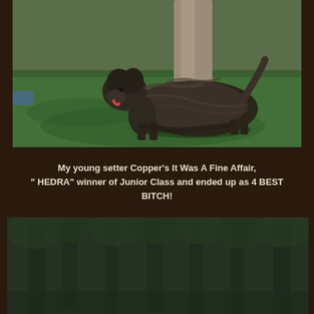[Figure (photo): A Cairn Terrier dog standing on green grass at a dog show, with a person in tan/khaki pants standing behind the dog. The dog is dark brindle colored with fluffy coat. Blue shoes visible on the left edge.]
My young setter Copper's It Was A Fine Affair, " HEDRA" winner of Junior Class and ended up as 4 BEST BITCH!
[Figure (photo): A blurry, dark outdoor photo showing trees or a forested area, appears to be taken in low light or overcast conditions.]